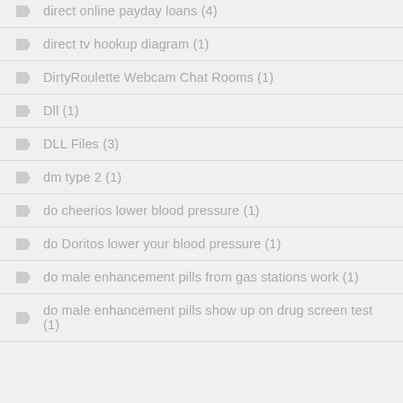direct online payday loans (4)
direct tv hookup diagram (1)
DirtyRoulette Webcam Chat Rooms (1)
Dll (1)
DLL Files (3)
dm type 2 (1)
do cheerios lower blood pressure (1)
do Doritos lower your blood pressure (1)
do male enhancement pills from gas stations work (1)
do male enhancement pills show up on drug screen test (1)